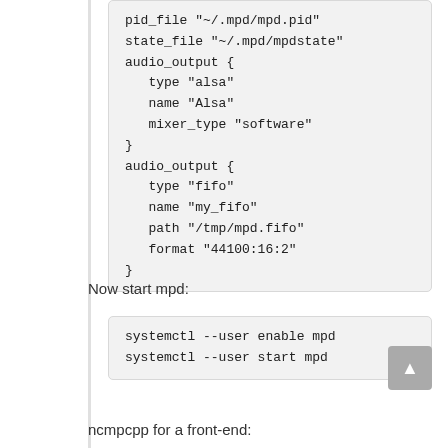[Figure (screenshot): Code block showing MPD configuration with pid_file, state_file, and two audio_output blocks (alsa and fifo)]
Now start mpd:
[Figure (screenshot): Code block with systemctl --user enable mpd and systemctl --user start mpd]
ncmpcpp for a front-end: